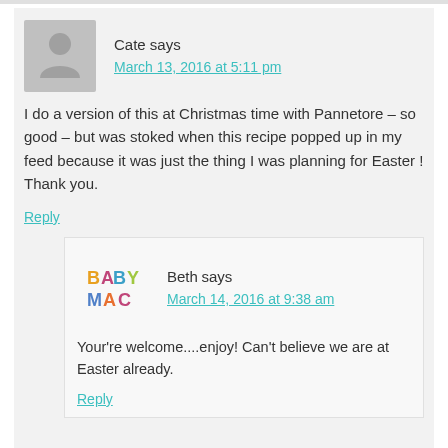Cate says
March 13, 2016 at 5:11 pm
I do a version of this at Christmas time with Pannetore – so good – but was stoked when this recipe popped up in my feed because it was just the thing I was planning for Easter ! Thank you.
Reply
Beth says
March 14, 2016 at 9:38 am
Your're welcome....enjoy! Can't believe we are at Easter already.
Reply